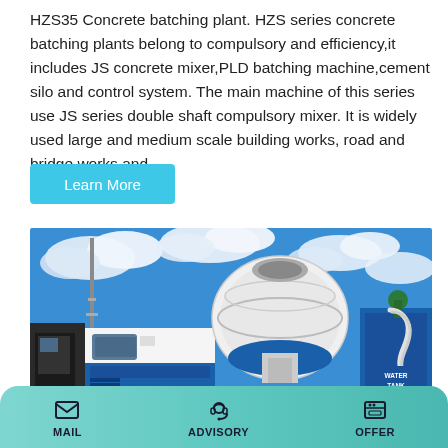HZS35 Concrete batching plant. HZS series concrete batching plants belong to compulsory and efficiency,it includes JS concrete mixer,PLD batching machine,cement silo and control system. The main machine of this series use JS series double shaft compulsory mixer. It is widely used large and medium scale building works, road and bridge works and
Learn More
[Figure (photo): Blue and white concrete mixer trucks photographed against a blue sky with clouds. Heavy construction machinery including mobile concrete mixers with rotating drums, hoses, and large tires. Text 'WATER TANK' visible on right machine.]
MAIL   ADVISORY   OFFER